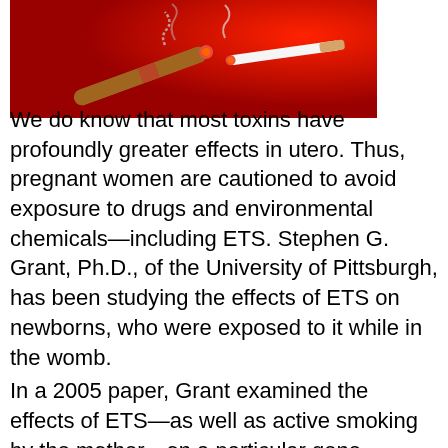[Figure (illustration): Illustration of a cigar and a cigarette on a red background, with smoke rising]
We do know that most toxins have profoundly greater effects in utero. Thus, pregnant women are cautioned to avoid exposure to drugs and environmental chemicals—including ETS. Stephen G. Grant, Ph.D., of the University of Pittsburgh, has been studying the effects of ETS on newborns, who were exposed to it while in the womb. In a 2005 paper, Grant examined the effects of ETS—as well as active smoking by the mother—on a particular gene (HPRT) of the newborns. The disturbing findings of this research were that both active maternal smoking and secondary maternal exposure produce quantitatively and qualitatively indistinguishable increases in fetal HPRT mutation. More than that, Grant concluded that this effect is not lessened to any measurable degree if the mother stops